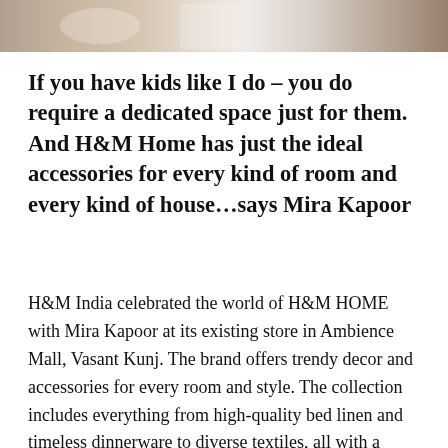[Figure (photo): Partial photograph of a table setting scene, cropped at top of page]
If you have kids like I do – you do require a dedicated space just for them. And H&M Home has just the ideal accessories for every kind of room and every kind of house…says Mira Kapoor
H&M India celebrated the world of H&M HOME with Mira Kapoor at its existing store in Ambience Mall, Vasant Kunj. The brand offers trendy decor and accessories for every room and style. The collection includes everything from high-quality bed linen and timeless dinnerware to diverse textiles, all with a focus on contemporary style and craftsmanship. It enables interior lovers to create spaces that are